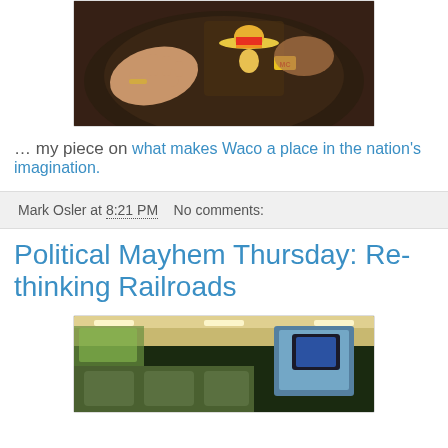[Figure (photo): Photo of a motorcycle club leather jacket with a cartoon character patch wearing a sombrero and an 'MC' patch, with hands visible.]
… my piece on what makes Waco a place in the nation's imagination.
Mark Osler at 8:21 PM   No comments:
Political Mayhem Thursday: Re-thinking Railroads
[Figure (photo): Interior photo of a train car showing seats and a screen/window.]